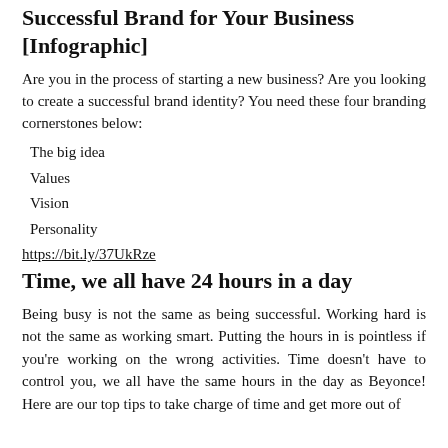Successful Brand for Your Business [Infographic]
Are you in the process of starting a new business? Are you looking to create a successful brand identity? You need these four branding cornerstones below:
The big idea
Values
Vision
Personality
https://bit.ly/37UkRze
Time, we all have 24 hours in a day
Being busy is not the same as being successful. Working hard is not the same as working smart. Putting the hours in is pointless if you're working on the wrong activities. Time doesn't have to control you, we all have the same hours in the day as Beyonce! Here are our top tips to take charge of time and get more out of